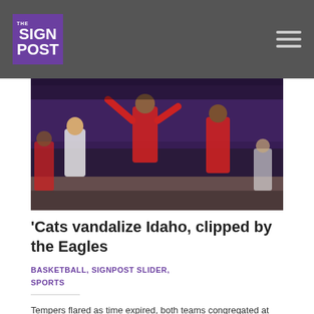THE SIGN POST
[Figure (photo): Basketball game action photo showing players in red jerseys competing on court with purple arena in background]
'Cats vandalize Idaho, clipped by the Eagles
BASKETBALL, SIGNPOST SLIDER, SPORTS
Tempers flared as time expired, both teams congregated at center court to quarrel over the ending, but in the end, it was a loss for the Weber State Wildcats. The […]